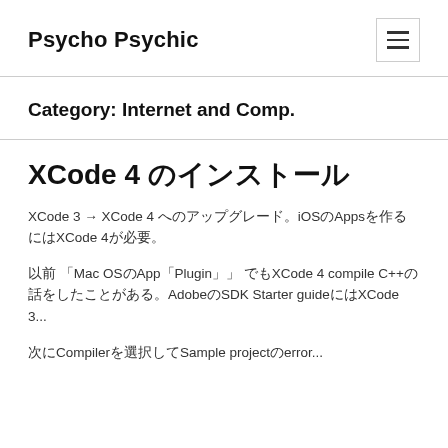Psycho Psychic
Category: Internet and Comp.
XCode 4 のインストール
XCode 3 → XCode 4 へのアップグレード。iOSのAppsを作るにはXCode 4が必要。
以前 「Mac OSのApp「Plugin」」 でもXCode 4 compile C++の話をしたことがある。AdobeのSDK Starter guideにはXCode 3...
次にCompilerを選択してSample projectのerror...